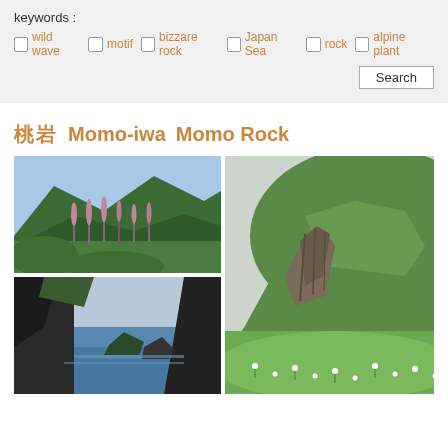keywords :
wild wave  motif  bizzare rock  Japan Sea  rock  alpine plants
Search
桃岩  Momo-iwa  Momo Rock
[Figure (photo): Green hillside with alpine wildflowers (lupin-like pink flowers) and mountains in background under blue sky]
[Figure (photo): Coastal cliff view looking down at blue-green Japan Sea with rocky outcrops]
[Figure (photo): Large green grassy mountain with rocky vertical cliff face, white wildflowers in foreground meadow]